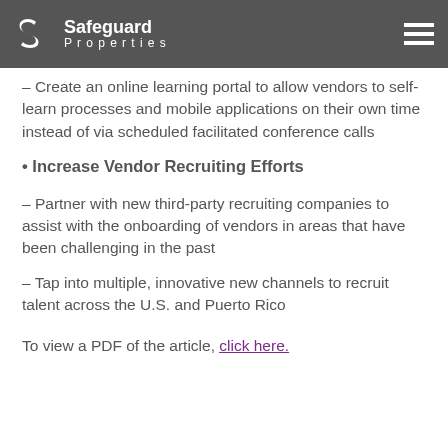Safeguard Properties
* These changes help the vendors navigate themselves in the onboarding process
– Create an online learning portal to allow vendors to self-learn processes and mobile applications on their own time instead of via scheduled facilitated conference calls
• Increase Vendor Recruiting Efforts
– Partner with new third-party recruiting companies to assist with the onboarding of vendors in areas that have been challenging in the past
– Tap into multiple, innovative new channels to recruit talent across the U.S. and Puerto Rico
To view a PDF of the article, click here.